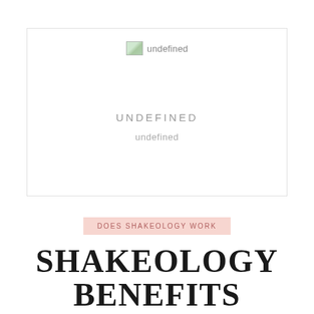[Figure (other): Broken image placeholder with icon and text 'undefined', followed by UNDEFINED and undefined labels in the center of a bordered box]
DOES SHAKEOLOGY WORK
SHAKEOLOGY BENEFITS